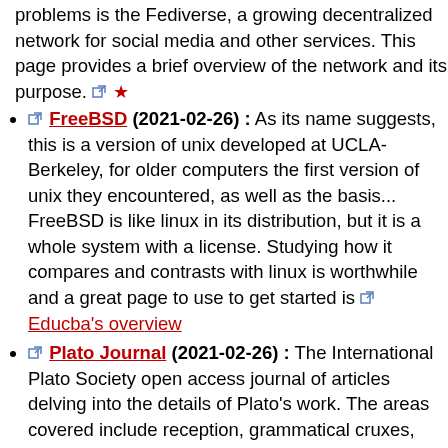problems is the Fediverse, a growing decentralized network for social media and other services. This page provides a brief overview of the network and its purpose.
FreeBSD (2021-02-26) : As its name suggests, this is a free version of unix developed at UCLA-Berkeley, for older computers the first version of unix they encountered, as well as the basis... FreeBSD is like linux in its distribution, but it is a whole system with a license. Studying how it compares and contrasts with linux is worthwhile and a great page to use to get started is Educba's overview
Plato Journal (2021-02-26) : The International Plato S... access journal of articles delving into the details of Plato's... The areas covered include reception, grammatical cruxes... about the meaning and complications of Plato's choices w... characterization and structure. True to the international n... journal is multilingual.
Sino-Platonic Papers (2021-02-26) : Founded in 1986 by Victor H. Mair to publish studies of intercultural relationships between peoples. It is open to risky and interdisciplinary studies, such as questions about possible relationships between cultures including those in China before the European invasion. Today it is free to print though not to sell since 2006. It is still possible to purchase of earlier issues where copies remain.
Lesbian and Gay News (2021-02-26) : A brand new news... on just who the title says, unapologetically critical of the m... conversion therapy. The founders and contributors are...